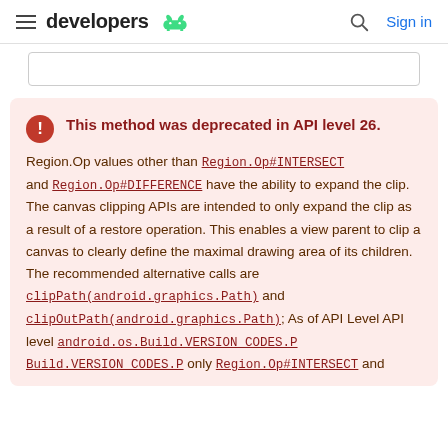developers [android logo] | Search | Sign in
This method was deprecated in API level 26. Region.Op values other than Region.Op#INTERSECT and Region.Op#DIFFERENCE have the ability to expand the clip. The canvas clipping APIs are intended to only expand the clip as a result of a restore operation. This enables a view parent to clip a canvas to clearly define the maximal drawing area of its children. The recommended alternative calls are clipPath(android.graphics.Path) and clipOutPath(android.graphics.Path); As of API Level API level android.os.Build.VERSION_CODES.P Build.VERSION_CODES.P only Region.Op#INTERSECT and